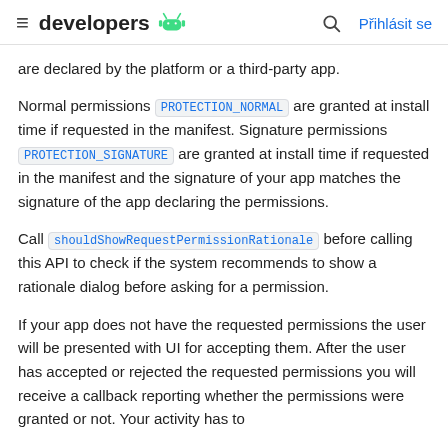≡ developers 🤖   🔍  Přihlásit se
are declared by the platform or a third-party app.
Normal permissions PROTECTION_NORMAL are granted at install time if requested in the manifest. Signature permissions PROTECTION_SIGNATURE are granted at install time if requested in the manifest and the signature of your app matches the signature of the app declaring the permissions.
Call shouldShowRequestPermissionRationale before calling this API to check if the system recommends to show a rationale dialog before asking for a permission.
If your app does not have the requested permissions the user will be presented with UI for accepting them. After the user has accepted or rejected the requested permissions you will receive a callback reporting whether the permissions were granted or not. Your activity has to